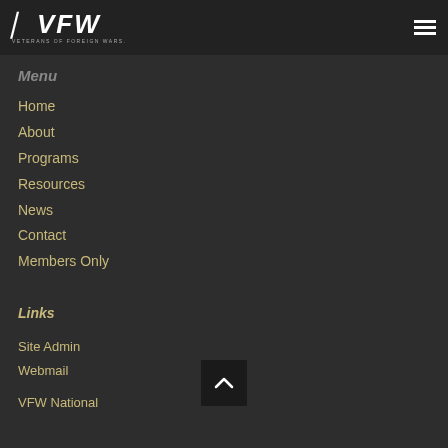VFW Veterans of Foreign Wars
Menu
Home
About
Programs
Resources
News
Contact
Members Only
Links
Site Admin
Webmail
VFW National